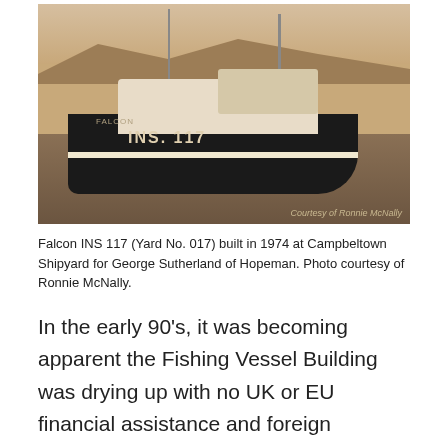[Figure (photo): Sepia-toned photograph of the fishing vessel Falcon INS 117 on calm water, with hills in the background. The boat is dark-hulled with white superstructure. Registration number INS. 117 is visible on the hull. Photo credit reads 'Courtesy of Ronnie McNally' in the bottom right corner.]
Falcon INS 117 (Yard No. 017) built in 1974 at Campbeltown Shipyard for George Sutherland of Hopeman. Photo courtesy of Ronnie McNally.
In the early 90's, it was becoming apparent the Fishing Vessel Building was drying up with no UK or EU financial assistance and foreign competition from very modern subsidised Yards in Poland and Spain for limited new builds opportunities. The fish on